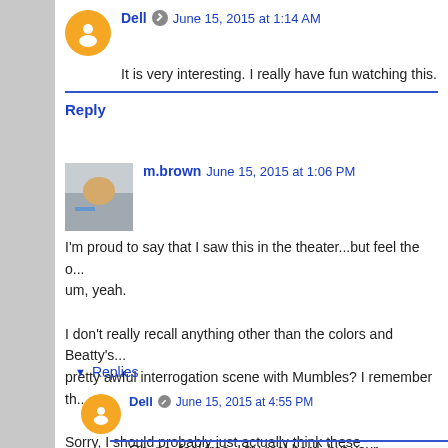Dell  June 15, 2015 at 1:14 AM
It is very interesting. I really have fun watching this.
Reply
m.brown  June 15, 2015 at 1:06 PM
I'm proud to say that I saw this in the theater...but feel the o... um, yeah.
I don't really recall anything other than the colors and Beatty's... pretty awful interrogation scene with Mumbles? I remember th...
Sorry, I should probably just actually think these thoughts...ins...
Reply
Replies
Dell  June 15, 2015 at 4:55 PM
Oh, no, feel free. I try real hard, but your comments u...